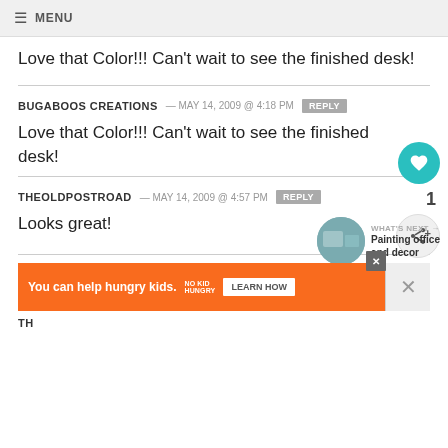≡ MENU
Love that Color!!! Can't wait to see the finished desk!
Love that Color!!! Can't wait to see the finished desk!
Looks great!
[Figure (infographic): Orange advertisement bar: 'You can help hungry kids. NO KID HUNGRY. LEARN HOW']